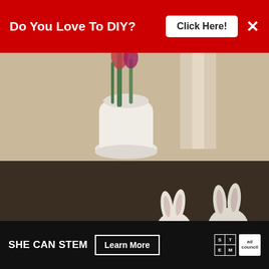[Figure (photo): Red banner advertisement at the top: 'Do You Love To DIY?' with a 'Click Here!' button and a close (X) button on the right.]
[Figure (photo): Photograph of a home decor table setting with two white ceramic Easter bunny figurines on a round plate/platter, next to a white vase with pink tulips. A green book is open in the foreground. Warm indoor lighting.]
Easy Easter De...
[Figure (infographic): What's Next panel showing thumbnail images and text: 'WHAT'S NEXT → Quick, Easy And...']
[Figure (photo): Bottom advertisement: 'SHE CAN STEM' with 'Learn More' button, STEM logo grid, Ad Council logo.]